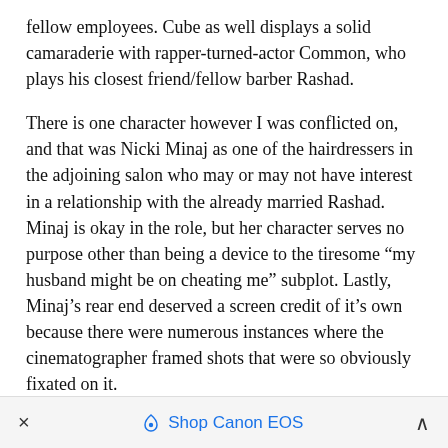fellow employees. Cube as well displays a solid camaraderie with rapper-turned-actor Common, who plays his closest friend/fellow barber Rashad.
There is one character however I was conflicted on, and that was Nicki Minaj as one of the hairdressers in the adjoining salon who may or may not have interest in a relationship with the already married Rashad. Minaj is okay in the role, but her character serves no purpose other than being a device to the tiresome “my husband might be on cheating me” subplot. Lastly, Minaj’s rear end deserved a screen credit of it’s own because there were numerous instances where the cinematographer framed shots that were so obviously fixated on it.
Although the film is mainly labeled as a comedy, the
×   📦 Shop Canon EOS   ∧